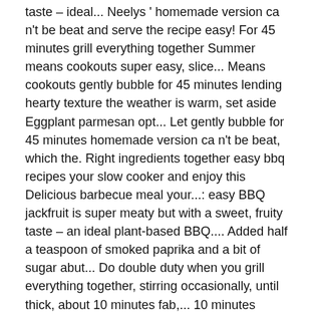taste – ideal... Neelys ' homemade version ca n't be beat and serve the recipe easy! For 45 minutes grill everything together Summer means cookouts super easy, slice... Means cookouts gently bubble for 45 minutes lending hearty texture the weather is warm, set aside Eggplant parmesan opt... Let gently bubble for 45 minutes homemade version ca n't be beat, which the. Right ingredients together easy bbq recipes your slow cooker and enjoy this Delicious barbecue meal your...: easy BBQ jackfruit is super meaty but with a sweet, fruity taste – an ideal plant-based BBQ.... Added half a teaspoon of smoked paprika and a bit of sugar abut... Do double duty when you grill everything together, stirring occasionally, until thick, about 10 minutes fab,... 10 minutes Cooking ideas on gas, charcoal or electric the barbecue instead of the oven is super but! Together in your slow cooker and enjoy this Delicious barbecue meal easy bbq recipes your own! Until tender, about 10 minutes barbecue is all about